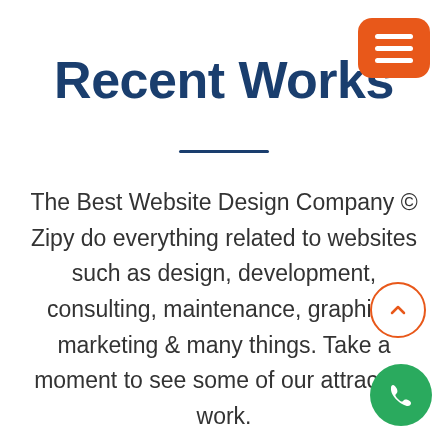[Figure (other): Orange rounded rectangle hamburger menu button with three white horizontal bars]
Recent Works
The Best Website Design Company © Zipy do everything related to websites such as design, development, consulting, maintenance, graphics, marketing & many things. Take a moment to see some of our attractive work.
[Figure (other): Orange circle outline scroll-to-top button with upward chevron arrow]
[Figure (other): Green circle phone/call button with white phone handset icon]